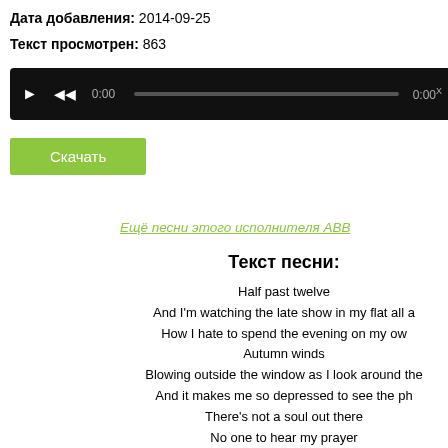Дата добавления: 2014-09-25
Текст просмотрен: 863
[Figure (other): Audio player bar with play, rewind buttons, time 0:00 and progress bar, end time 0:00]
Скачать
Ещё песни этого исполнителя ABB
Текст песни:
Half past twelve
And I'm watching the late show in my flat all a
How I hate to spend the evening on my ow
Autumn winds
Blowing outside the window as I look around the
And it makes me so depressed to see the ph
There's not a soul out there
No one to hear my prayer

Gimme gimme gimme a man after midnigh
Won't somebody help me chase these shadows
Gimme gimme gimme a man after midnigh
Take me through the darkness to the break of th

Movie stars